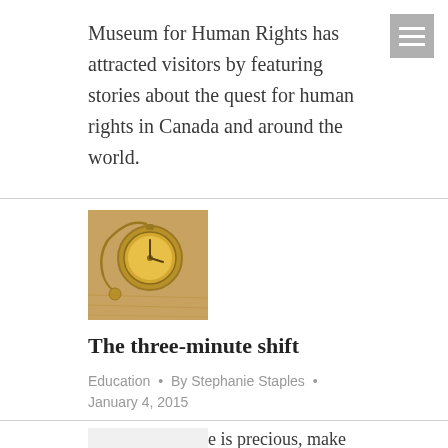Museum for Human Rights has attracted visitors by featuring stories about the quest for human rights in Canada and around the world.
[Figure (photo): A gold pocket watch on a chain photographed on a wooden surface]
The three-minute shift
Education • By Stephanie Staples • January 4, 2015
Life is short, time is precious, make the most out of it, even in just three minutes!
[Figure (photo): Partial view of another article thumbnail at bottom]